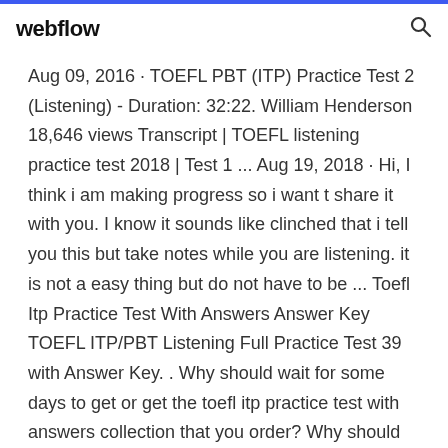webflow
Aug 09, 2016 · TOEFL PBT (ITP) Practice Test 2 (Listening) - Duration: 32:22. William Henderson 18,646 views Transcript | TOEFL listening practice test 2018 | Test 1 ... Aug 19, 2018 · Hi, I think i am making progress so i want t share it with you. I know it sounds like clinched that i tell you this but take notes while you are listening. it is not a easy thing but do not have to be ... Toefl Itp Practice Test With Answers Answer Key TOEFL ITP/PBT Listening Full Practice Test 39 with Answer Key. . Why should wait for some days to get or get the toefl itp practice test with answers collection that you order? Why should you ... TOEFL iBT Listening Questions Essay Practice The listening Sectio...